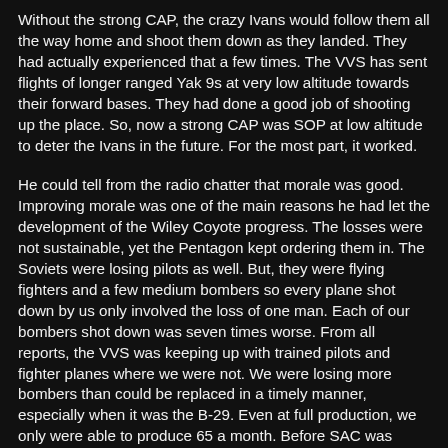Without the strong CAP, the crazy Ivans would follow them all the way home and shoot them down as they landed. They had actually experienced that a few times. The VVS has sent flights of longer ranged Yak 9s at very low altitude towards their forward bases. They had done a good job of shooting up the place. So, now a strong CAP was SOP at low altitude to deter the Ivans in the future. For the most part, it worked.
He could tell from the radio chatter that morale was good. Improving morale was one of the main reasons he had let the development of the Wiley Coyote progress. The losses were not sustainable, yet the Pentagon kept ordering them in. The Soviets were losing pilots as well. But, they were flying fighters and a few medium bombers so every plane shot down by us only involved the loss of one man. Each of our bombers shot down was seven times worse. From all reports, the VVS was keeping up with trained pilots and fighter planes where we were not. We were losing more bombers than could be replaced in a timely manner, especially when it was the B-29. Even at full production, we only were able to produce 65 a month. Before SAC was